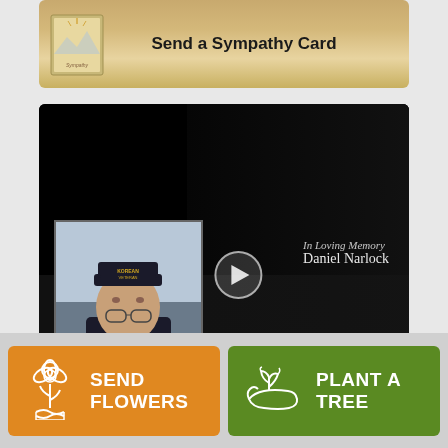[Figure (screenshot): Send a Sympathy Card banner with card thumbnail image and golden/tan gradient background]
[Figure (screenshot): Video player with dark background showing a man wearing a Korean Veteran cap, with 'In Loving Memory Daniel Narlock' text overlay and play button]
[Figure (infographic): Two call-to-action buttons at bottom: orange 'SEND FLOWERS' button with flower icon, and green 'PLANT A TREE' button with plant/hand icon]